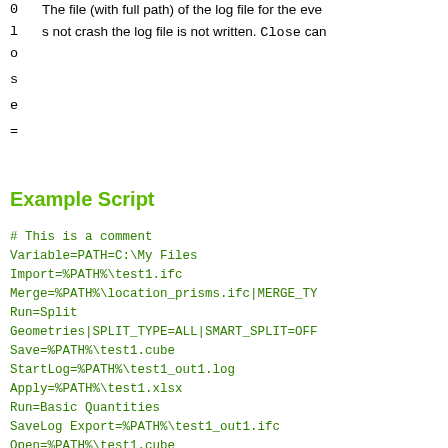0   The file (with full path) of the log file for the eve
l   s not crash the log file is not written. Close can
o
s
e
=
Example Script
# This is a comment
Variable=PATH=C:\My Files
Import=%PATH%\test1.ifc
Merge=%PATH%\location_prisms.ifc|MERGE_TY
Run=Split
Geometries|SPLIT_TYPE=ALL|SMART_SPLIT=OFF
Save=%PATH%\test1.cube
StartLog=%PATH%\test1_out1.log
Apply=%PATH%\test1.xlsx
Run=Basic Quantities
SaveLog Export=%PATH%\test1_out1.ifc
Open=%PATH%\test1.cube
StartLog=%PATH%\test1_out2.log
Apply=%PATH%\test2.xlsx
Apply=%PATH%\test2.xlsx